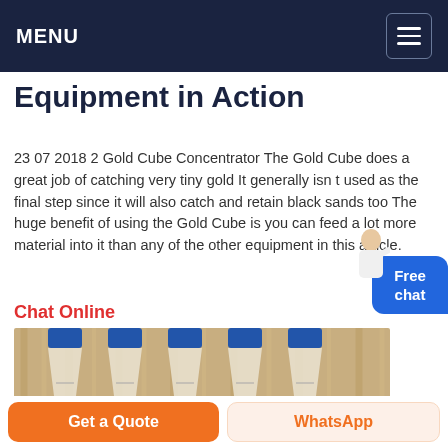MENU
Equipment in Action
23 07 2018  2 Gold Cube Concentrator The Gold Cube does a great job of catching very tiny gold It generally isn t used as the final step since it will also catch and retain black sands too The huge benefit of using the Gold Cube is you can feed a lot more material into it than any of the other equipment in this article.
Chat Online
[Figure (photo): Photo of multiple cone-shaped gold concentrator equipment units with blue tops, arranged side by side against a wooden background]
Get a Quote
WhatsApp